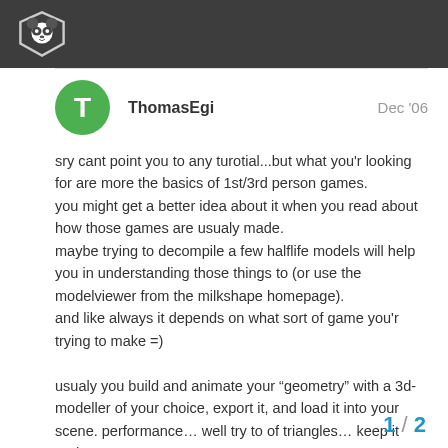Panda3D forum header with panda logo
ThomasEgi  Dec '06
sry cant point you to any turotial...but what you'r looking for are more the basics of 1st/3rd person games.
you might get a better idea about it when you read about how those games are usualy made.
maybe trying to decompile a few halflife models will help you in understanding those things to (or use the modelviewer from the milkshape homepage).
and like always it depends on what sort of game you'r trying to make =)

usualy you build and animate your “geometry” with a 3d-modeller of your choice, export it, and load it into your scene. performance... well try to of triangles... keep it under 4000 per c
1 / 2